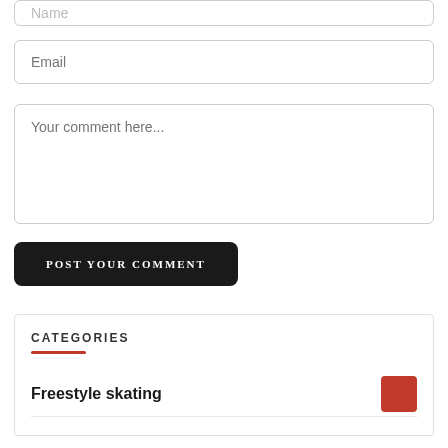[Figure (screenshot): Partial top of a Name input field, cut off at top of page]
Email
Your comment here...
POST YOUR COMMENT
CATEGORIES
Freestyle skating